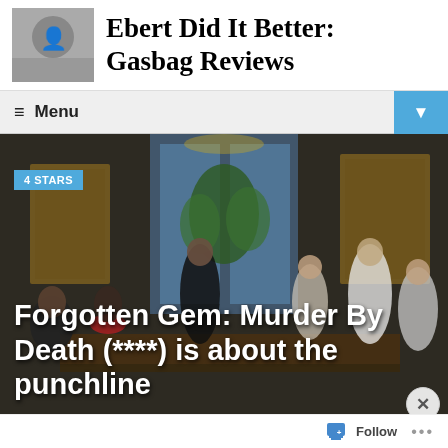[Figure (logo): Black and white photo of a person, site logo thumbnail]
Ebert Did It Better: Gasbag Reviews
≡ Menu
[Figure (photo): Scene from Murder By Death film: formal dinner party with multiple characters in an ornate room]
4 STARS
Forgotten Gem: Murder By Death (****) is about the punchline
Advertisements
Search, browse, and email
Follow